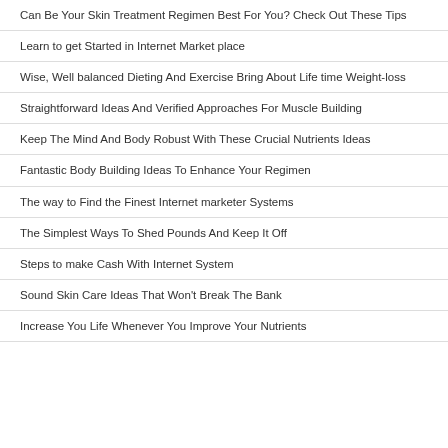Can Be Your Skin Treatment Regimen Best For You? Check Out These Tips
Learn to get Started in Internet Market place
Wise, Well balanced Dieting And Exercise Bring About Life time Weight-loss
Straightforward Ideas And Verified Approaches For Muscle Building
Keep The Mind And Body Robust With These Crucial Nutrients Ideas
Fantastic Body Building Ideas To Enhance Your Regimen
The way to Find the Finest Internet marketer Systems
The Simplest Ways To Shed Pounds And Keep It Off
Steps to make Cash With Internet System
Sound Skin Care Ideas That Won't Break The Bank
Increase You Life Whenever You Improve Your Nutrients